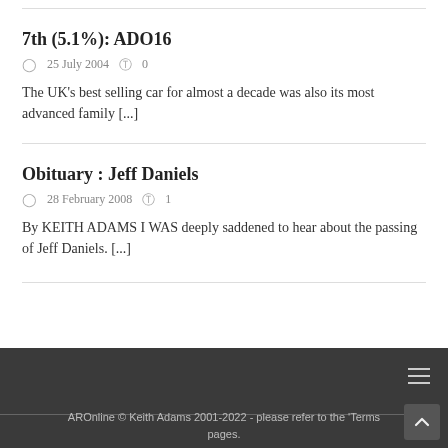7th (5.1%): ADO16
25 July 2004   0
The UK’s best selling car for almost a decade was also its most advanced family [...]
Obituary : Jeff Daniels
28 February 2008   1
By KEITH ADAMS I WAS deeply saddened to hear about the passing of Jeff Daniels. [...]
AROnline © Keith Adams 2001-2022 - please refer to the 'Terms pages.